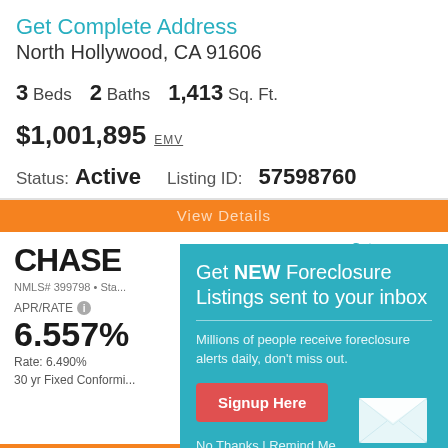Get Complete Address
North Hollywood, CA 91606
3 Beds   2 Baths   1,413 Sq. Ft.
$1,001,895 EMV
Status: Active   Listing ID: 57598760
[Figure (screenshot): Chase mortgage card showing APR/RATE 6.557%, Rate: 6.490%, 30 yr Fixed Conforming, NMLS# 399798]
[Figure (infographic): Signup modal overlay: Get NEW Foreclosure Listings sent to your inbox. Millions of people receive foreclosure alerts daily, don't miss out. Signup Here button. No Thanks | Remind Me Later]
Sponsored
[Figure (logo): PenFed Credit Union logo, NMLS #: 401822]
No L... Payment³